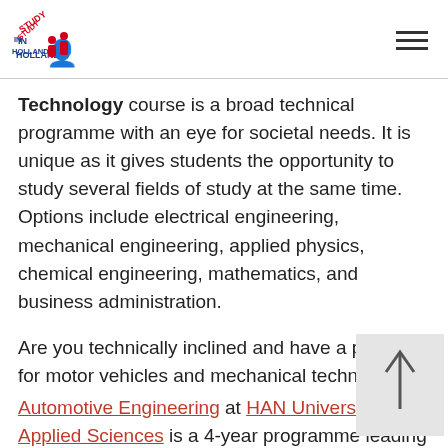Study in Holland logo and navigation menu
Technology course is a broad technical programme with an eye for societal needs. It is unique as it gives students the opportunity to study several fields of study at the same time. Options include electrical engineering, mechanical engineering, applied physics, chemical engineering, mathematics, and business administration.
Are you technically inclined and have a passion for motor vehicles and mechanical technology? Automotive Engineering at HAN University of Applied Sciences is a 4-year programme leading to